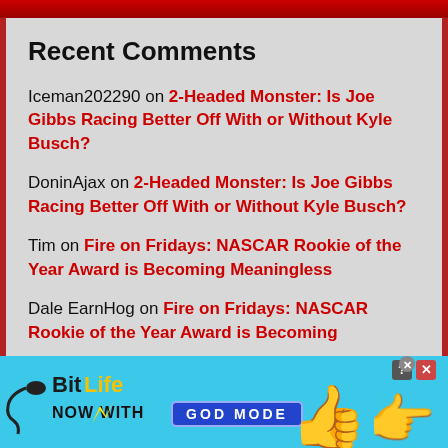Recent Comments
Iceman202290 on 2-Headed Monster: Is Joe Gibbs Racing Better Off With or Without Kyle Busch?
DoninAjax on 2-Headed Monster: Is Joe Gibbs Racing Better Off With or Without Kyle Busch?
Tim on Fire on Fridays: NASCAR Rookie of the Year Award is Becoming Meaningless
Dale EarnHog on Fire on Fridays: NASCAR Rookie of the Year Award is Becoming...
[Figure (screenshot): BitLife advertisement banner with 'NOW WITH GOD MODE' text, thumbs up and pointing hand graphics on a cyan/light blue background]